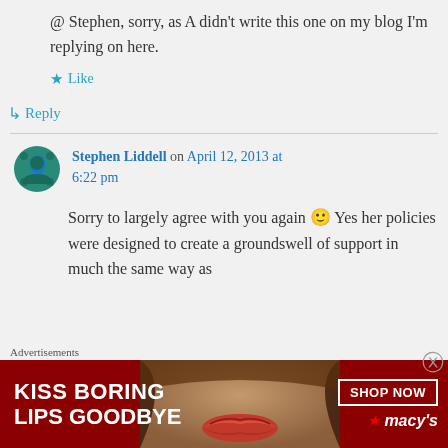@ Stephen, sorry, as A didn't write this one on my blog I'm replying on here.
★ Like
↳ Reply
Stephen Liddell on April 12, 2013 at 6:22 pm
Sorry to largely agree with you again 🙂 Yes her policies were designed to create a groundswell of support in much the same way as
Advertisements
[Figure (photo): Macy's advertisement banner: 'KISS BORING LIPS GOODBYE' with a close-up photo of red lips, a 'SHOP NOW' button, and the Macy's logo with red star.]